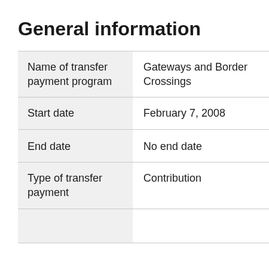General information
| Name of transfer payment program | Gateways and Border Crossings |
| Start date | February 7, 2008 |
| End date | No end date |
| Type of transfer payment | Contribution |